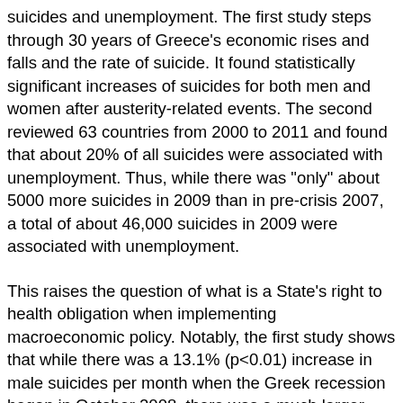suicides and unemployment. The first study steps through 30 years of Greece's economic rises and falls and the rate of suicide. It found statistically significant increases of suicides for both men and women after austerity-related events. The second reviewed 63 countries from 2000 to 2011 and found that about 20% of all suicides were associated with unemployment. Thus, while there was “only” about 5000 more suicides in 2009 than in pre-crisis 2007, a total of about 46,000 suicides in 2009 were associated with unemployment.
This raises the question of what is a State’s right to health obligation when implementing macroeconomic policy. Notably, the first study shows that while there was a 13.1% (p<0.01) increase in male suicides per month when the Greek recession began in October 2008, there was a much larger increase of 35.7%